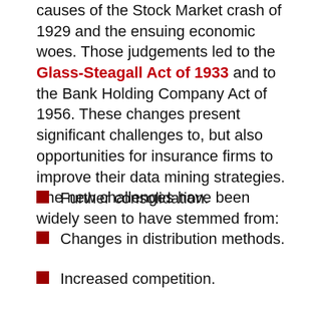causes of the Stock Market crash of 1929 and the ensuing economic woes. Those judgements led to the Glass-Steagall Act of 1933 and to the Bank Holding Company Act of 1956. These changes present significant challenges to, but also opportunities for insurance firms to improve their data mining strategies. The new challenges have been widely seen to have stemmed from:
Further consolidation.
Changes in distribution methods.
Increased competition.